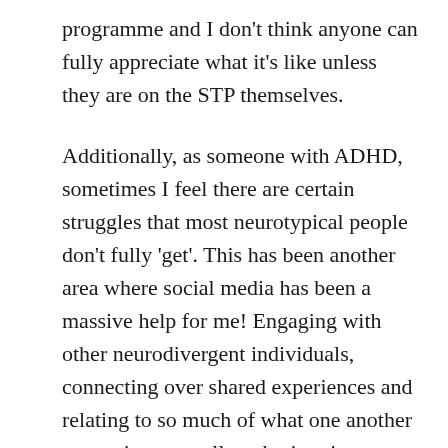programme and I don't think anyone can fully appreciate what it's like unless they are on the STP themselves.
Additionally, as someone with ADHD, sometimes I feel there are certain struggles that most neurotypical people don't fully 'get'. This has been another area where social media has been a massive help for me! Engaging with other neurodivergent individuals, connecting over shared experiences and relating to so much of what one another are saying, as well as sharing tips on how to overcome some of our common difficulties (such as disorganisation, time blindness, overwhelm etc.) has been hugely helpful for me and helped me to not feel so alone